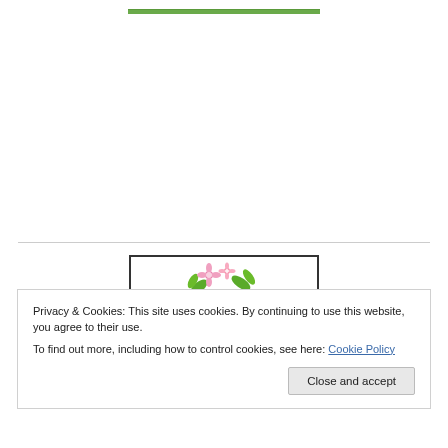[Figure (illustration): Small green banner/logo strip at the top center of the page]
[Figure (illustration): Banner image with pink and green flowers at top and 'Authors Helping Authors' text in orange/red/green at bottom, bordered with a black rectangle]
Privacy & Cookies: This site uses cookies. By continuing to use this website, you agree to their use.
To find out more, including how to control cookies, see here: Cookie Policy
Close and accept